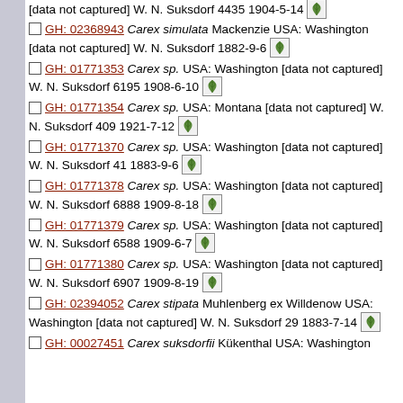[data not captured] W. N. Suksdorf 4435 1904-5-14 [leaf icon]
GH: 02368943 Carex simulata Mackenzie USA: Washington [data not captured] W. N. Suksdorf 1882-9-6 [leaf icon]
GH: 01771353 Carex sp. USA: Washington [data not captured] W. N. Suksdorf 6195 1908-6-10 [leaf icon]
GH: 01771354 Carex sp. USA: Montana [data not captured] W. N. Suksdorf 409 1921-7-12 [leaf icon]
GH: 01771370 Carex sp. USA: Washington [data not captured] W. N. Suksdorf 41 1883-9-6 [leaf icon]
GH: 01771378 Carex sp. USA: Washington [data not captured] W. N. Suksdorf 6888 1909-8-18 [leaf icon]
GH: 01771379 Carex sp. USA: Washington [data not captured] W. N. Suksdorf 6588 1909-6-7 [leaf icon]
GH: 01771380 Carex sp. USA: Washington [data not captured] W. N. Suksdorf 6907 1909-8-19 [leaf icon]
GH: 02394052 Carex stipata Muhlenberg ex Willdenow USA: Washington [data not captured] W. N. Suksdorf 29 1883-7-14 [leaf icon]
GH: 00027451 Carex suksdorfii Kükenthal USA: Washington [leaf icon]